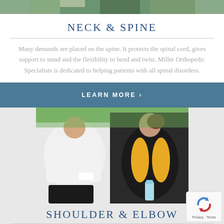[Figure (photo): Partial top strip of an outdoor photo, likely showing a person exercising or doing yoga outdoors with greenery visible]
NECK & SPINE
Many demands are placed on the spine. It protects the spinal cord, gives support to stand and the flexibility to bend and twist. Miller Orthopedic Specialists is dedicated to helping patients with all spinal disorders.
LEARN MORE ›
[Figure (photo): Two runners jogging outdoors — a man in a white t-shirt with a blue sling on his arm and a woman in a black and yellow athletic top holding a water bottle]
SHOULDER & ELBOW
Shoulder and elbow pain occurs for many reasons. Arthritis, injury and